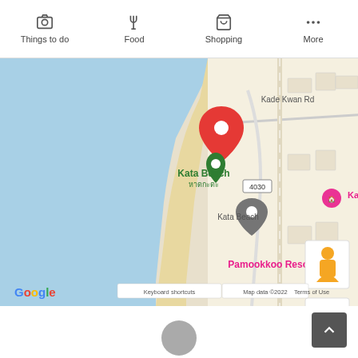[Figure (screenshot): Google Maps toolbar with icons: camera (Things to do), fork-knife (Food), shopping bag (Shopping), three dots (More)]
[Figure (map): Google Maps screenshot showing Kata Beach area in Phuket, Thailand. Features include: red map pin at Kata Beach (หาดกะตะ), green location marker, gray pin labeled Kata Beach, pink marker for Kata Sea resort, pink marker for Pamookkoo Resort, green tree marker for Kata Beach Community Park, pink marker for Beyond Resort Kata. Road labeled Kade Kwan Rd and route 4030 visible. Water (sea) in blue on left. Google branding, Keyboard shortcuts, Map data ©2022, Terms of Use visible at bottom. Street View person icon and +/- zoom controls on right side.]
[Figure (screenshot): White bottom bar with a gray circle in the center and a dark gray back-to-top arrow button in the bottom right corner.]